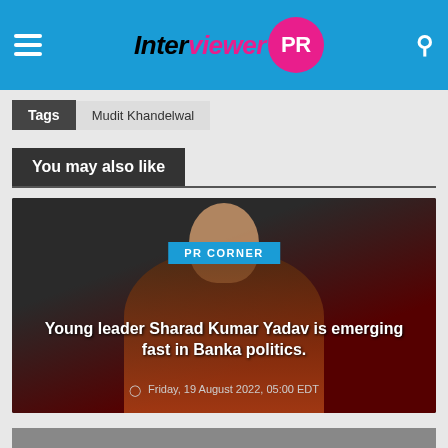Interviewer PR
Tags  Mudit Khandelwal
You may also like
[Figure (photo): News article card with a man in a red vest on dark background. Badge reading PR CORNER. Title: Young leader Sharad Kumar Yadav is emerging fast in Banka politics. Date: Friday, 19 August 2022, 05:00 EDT]
Young leader Sharad Kumar Yadav is emerging fast in Banka politics.
Friday, 19 August 2022, 05:00 EDT